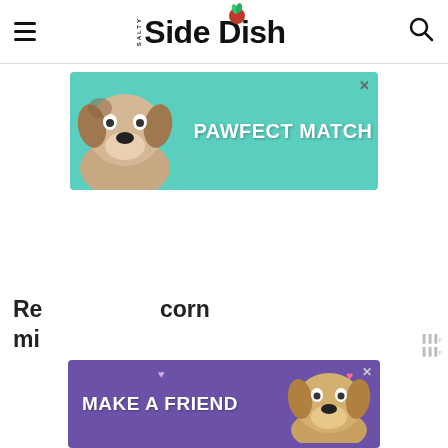Salty Side Dish
[Figure (illustration): Advertisement banner with teal background showing a dog and text 'PAWFECT MATCH']
[Figure (illustration): Advertisement banner with purple background showing a dog and text 'MAKE A FRIEND']
Re... corn mi...